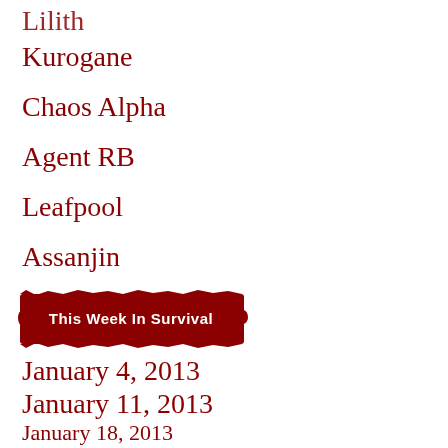Lilith
Kurogane
Chaos Alpha
Agent RB
Leafpool
Assanjin
[Figure (logo): This Week In Survival banner logo with distressed red background and white bold text]
January 4, 2013
January 11, 2013
January 18, 2013
February 01, 2013
February 08, 2013
February 15, 2013